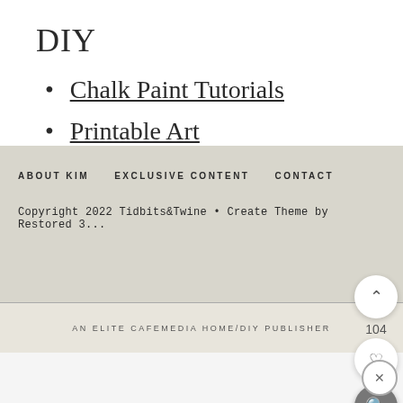DIY
Chalk Paint Tutorials
Printable Art
DIY Wreaths
ABOUT KIM   EXCLUSIVE CONTENT   CONTACT
Copyright 2022 Tidbits&Twine • Create Theme by Restored 3...
AN ELITE CAFEMEDIA HOME/DIY PUBLISHER